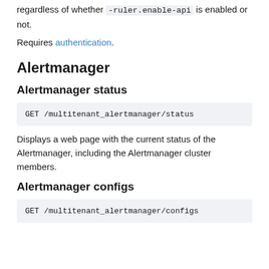regardless of whether -ruler.enable-api is enabled or not.
Requires authentication.
Alertmanager
Alertmanager status
GET /multitenant_alertmanager/status
Displays a web page with the current status of the Alertmanager, including the Alertmanager cluster members.
Alertmanager configs
GET /multitenant_alertmanager/configs